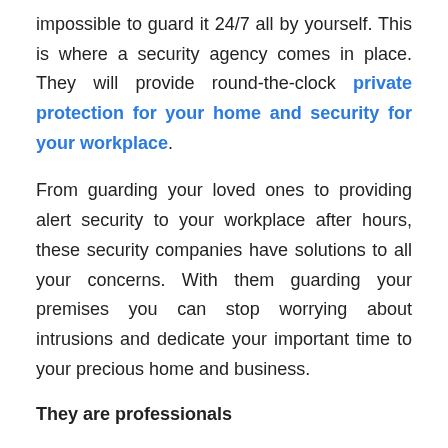impossible to guard it 24/7 all by yourself. This is where a security agency comes in place. They will provide round-the-clock private protection for your home and security for your workplace.
From guarding your loved ones to providing alert security to your workplace after hours, these security companies have solutions to all your concerns. With them guarding your premises you can stop worrying about intrusions and dedicate your important time to your precious home and business.
They are professionals
You may be a 6ft 3 tall and well-built macho man but the